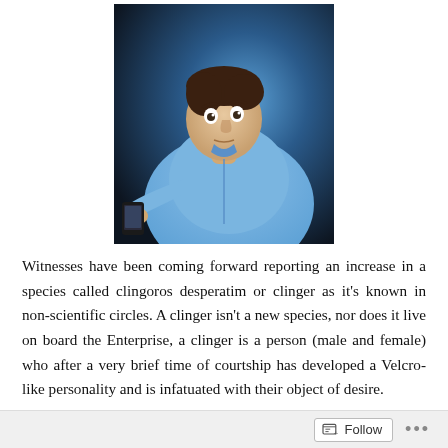[Figure (photo): A man in a blue dress shirt holding a smartphone up close to his face and looking at it with wide eyes, against a dark blue studio background.]
Witnesses have been coming forward reporting an increase in a species called clingoros desperatim or clinger as it's known in non-scientific circles. A clinger isn't a new species, nor does it live on board the Enterprise, a clinger is a person (male and female) who after a very brief time of courtship has developed a Velcro-like personality and is infatuated with their object of desire.
Follow ...